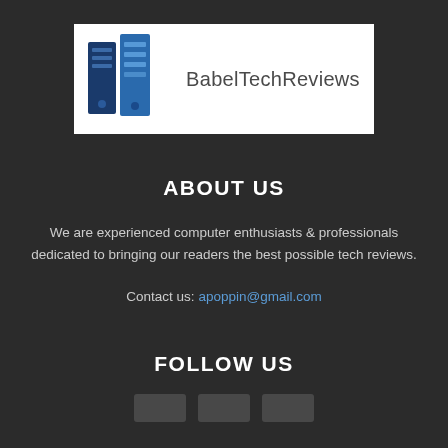[Figure (logo): BabelTechReviews logo with stylized blue server tower icons and the text 'BabelTechReviews']
ABOUT US
We are experienced computer enthusiasts & professionals dedicated to bringing our readers the best possible tech reviews.
Contact us: apoppin@gmail.com
FOLLOW US